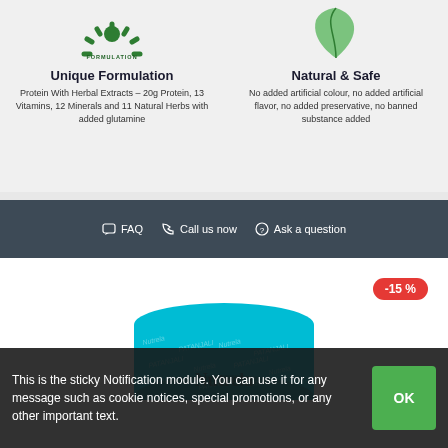[Figure (logo): Green gear/cog icon with 'FORMULATION' text, partially cropped at top]
Unique Formulation
Protein With Herbal Extracts – 20g Protein, 13 Vitamins, 12 Minerals and 11 Natural Herbs with added glutamine
[Figure (illustration): Green leaf icon, partially cropped at top]
Natural & Safe
No added artificial colour, no added artificial flavor, no added preservative, no banned substance added
FAQ  Call us now  Ask a question
[Figure (photo): Blue cylindrical Nutrela product container with -15% discount badge]
This is the sticky Notification module. You can use it for any message such as cookie notices, special promotions, or any other important text.